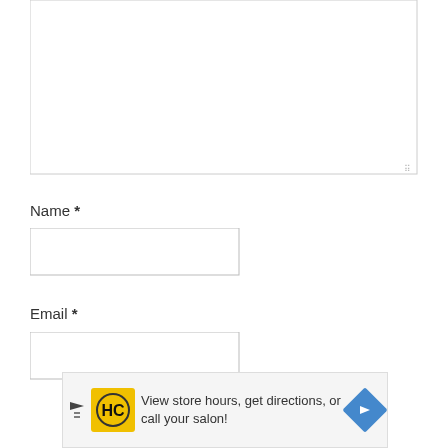[Figure (screenshot): Empty textarea input box with resize handle at bottom-right corner]
Name *
[Figure (screenshot): Name input text field, empty]
Email *
[Figure (screenshot): Email input text field, empty, partially visible]
[Figure (infographic): Advertisement banner: View store hours, get directions, or call your salon! with HC logo icon and navigation arrow]